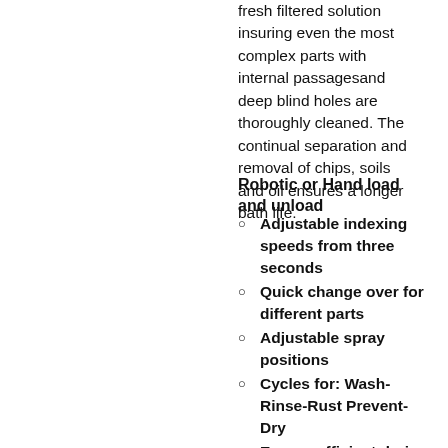fresh filtered solution insuring even the most complex parts with internal passagesand deep blind holes are thoroughly cleaned. The continual separation and removal of chips, soils and oil ensures a longer bath life.
Robotic or Hand load and unload
Adjustable indexing speeds from three seconds
Quick change over for different parts
Adjustable spray positions
Cycles for: Wash-Rinse-Rust Prevent-Dry
Energy efficient drying
Stainless steel construction
Continuous oil removal
Micron filtration for